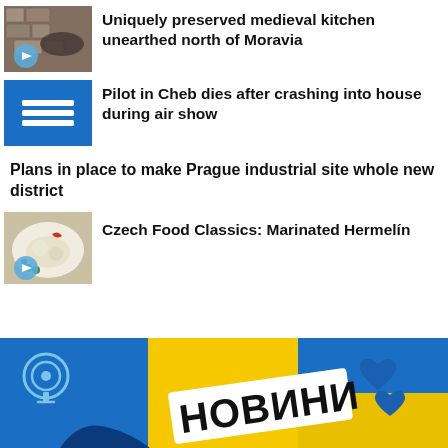[Figure (photo): Medieval kitchen photo with play button overlay]
Uniquely preserved medieval kitchen unearthed north of Moravia
[Figure (illustration): Blue Czech Radio icon with three horizontal lines]
Pilot in Cheb dies after crashing into house during air show
Plans in place to make Prague industrial site whole new district
[Figure (photo): Czech food Marinated Hermelin dish with play button overlay]
Czech Food Classics: Marinated Hermelín
[Figure (photo): Blue and yellow background with Cyrillic text Новини and blue heart shapes, podcast icon]